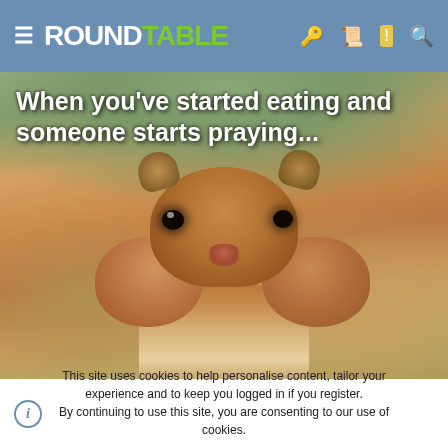RoundTable (navigation bar with hamburger menu, logo, and icons for key, profile, notifications, search)
[Figure (photo): Meme image of a chipmunk with stuffed cheeks, with text overlay: 'When you've started eating and someone starts praying...']
This site uses cookies to help personalise content, tailor your experience and to keep you logged in if you register. By continuing to use this site, you are consenting to our use of cookies.
ACCEPT   LEARN MORE...